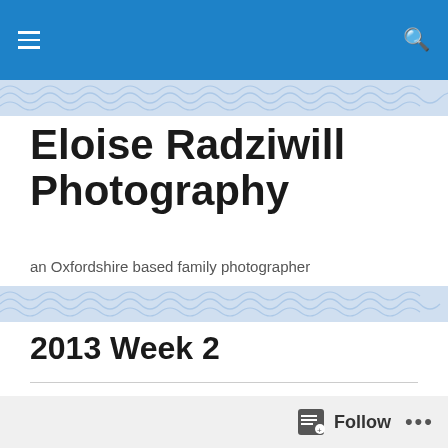Navigation bar with menu and search icons
Eloise Radziwill Photography
an Oxfordshire based family photographer
2013 Week 2
The lateness of this posting has been due to the snow we h (everything stops with snow here!) and the fact that I have after a little operation on his leg....well, that's my excuse a
Follow ...